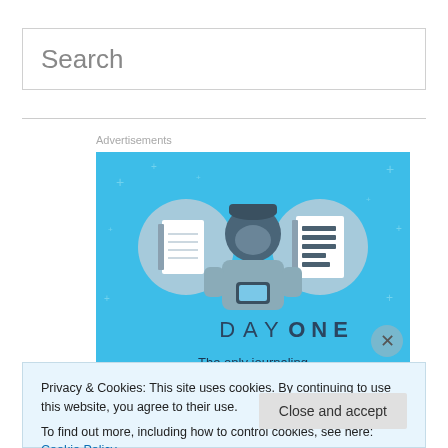Search
Advertisements
[Figure (illustration): Day One journaling app advertisement with blue background, illustration of a person using a phone with two circular icons showing notebooks, text: DAY ONE - The only journaling app you'll ever need.]
Privacy & Cookies: This site uses cookies. By continuing to use this website, you agree to their use. To find out more, including how to control cookies, see here: Cookie Policy
Close and accept